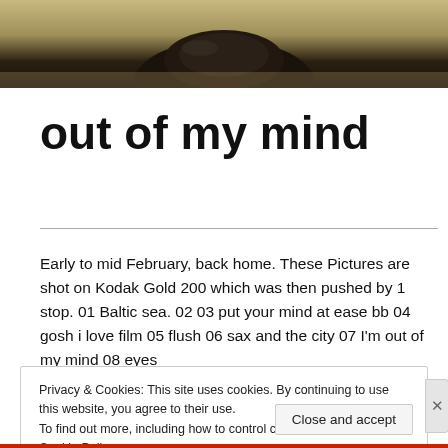[Figure (photo): Partial view of a dark bag or object on a warm-toned surface, cropped at top of page]
out of my mind
Early to mid February, back home. These Pictures are shot on Kodak Gold 200 which was then pushed by 1 stop. 01 Baltic sea. 02 03 put your mind at ease bb 04 gosh i love film 05 flush 06 sax and the city 07 I'm out of my mind 08 eyes
Privacy & Cookies: This site uses cookies. By continuing to use this website, you agree to their use. To find out more, including how to control cookies, see here: Cookie Policy